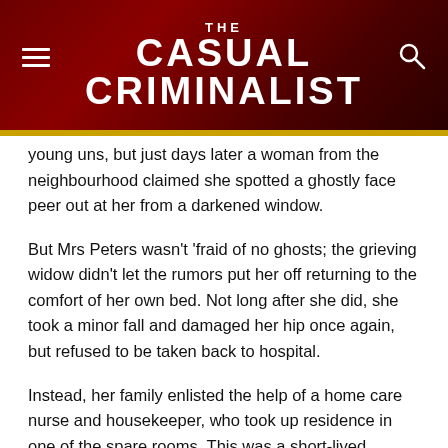THE CASUAL CRIMINALIST
young uns, but just days later a woman from the neighbourhood claimed she spotted a ghostly face peer out at her from a darkened window.
But Mrs Peters wasn't 'fraid of no ghosts; the grieving widow didn't let the rumors put her off returning to the comfort of her own bed. Not long after she did, she took a minor fall and damaged her hip once again, but refused to be taken back to hospital.
Instead, her family enlisted the help of a home care nurse and housekeeper, who took up residence in one of the spare rooms. This was a short-lived arrangement, because soon the nurse started to hear strange scratching noises from inside the walls, and found objects left out of place in the mornings.
Her creeping sense of dread came to a head one cold January